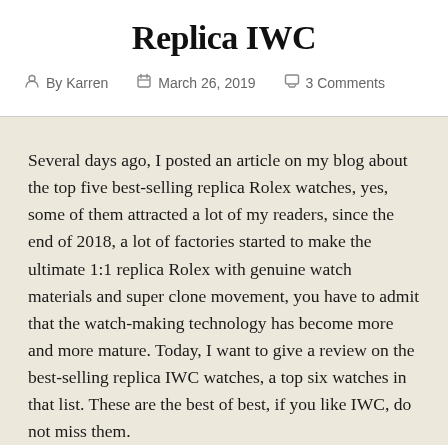Replica IWC
By Karren   March 26, 2019   3 Comments
Several days ago, I posted an article on my blog about the top five best-selling replica Rolex watches, yes, some of them attracted a lot of my readers, since the end of 2018, a lot of factories started to make the ultimate 1:1 replica Rolex with genuine watch materials and super clone movement, you have to admit that the watch-making technology has become more and more mature. Today, I want to give a review on the best-selling replica IWC watches, a top six watches in that list. These are the best of best, if you like IWC, do not miss them.